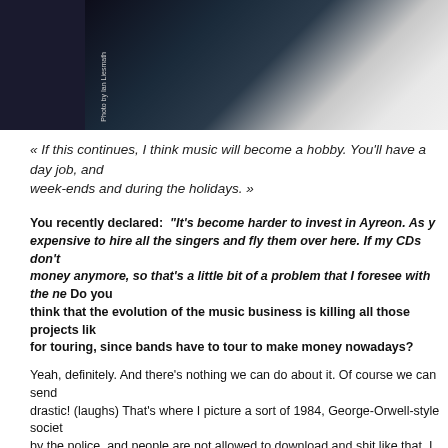[Figure (photo): Partial photo of a person, dark background with light area on right side. Photo credit text visible on left side.]
« If this continues, I think music will become a hobby. You'll have a day job, and week-ends and during the holidays. »
You recently declared: "It's become harder to invest in Ayreon. As you know, it's become more expensive to hire all the singers and fly them over here. If my CDs don't sell, they don't generate money anymore, so that's a little bit of a problem that I foresee with the next Ayreon." Do you think that the evolution of the music business is killing all those projects like Ayreon that are not fit for touring, since bands have to tour to make money nowadays?
Yeah, definitely. And there's nothing we can do about it. Of course we can send people to jail, but that's drastic! (laughs) That's where I picture a sort of 1984, George-Orwell-style society where everybody is tracked by the police, and people are not allowed to download and shit like that. I have no idea how we're going to fix about it, but something will have to be done. My only income is from people buying CDs and downloading stuff legally. Then again, I can understand people who download music illegally. It's just great to have the opportunity to get a new album within two minutes and check it out. So yeah, I understand why they do it, and I'm not blaming them. I'm blaming the very possibility to steal any music anytime. Because if people stop buying my CDs, how am I going to invest in another Ayreon? You can fly twenty singers over, that's already 10,000 dollars. Then each of them has to be paid, especially the famous ones. Of course you work on something like that for a year, and I only earn something like 20,000 dollars on it. So imagine how many albums I have to sell to pay that back. I have to sell at least 50,